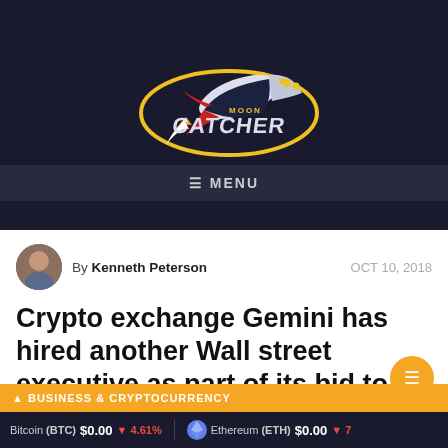[Figure (logo): Moon Catcher logo with rocket and text]
☰ MENU
By Kenneth Peterson   OCT 10, 2018
Crypto exchange Gemini has hired another Wall street executive as part of its bid to attract more institutional clients
Bitcoin (BTC) $0.00  ▼ 4.61%   Ethereum (ETH) $0.00  ▼ 7